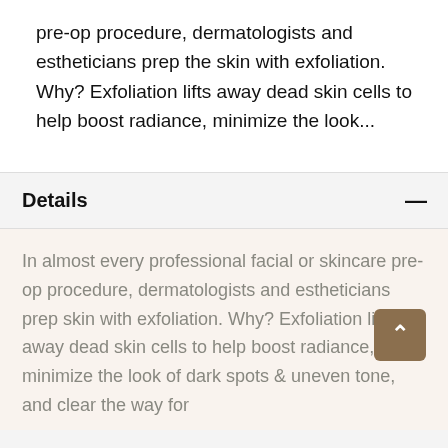pre-op procedure, dermatologists and estheticians prep the skin with exfoliation. Why? Exfoliation lifts away dead skin cells to help boost radiance, minimize the look...
Details
In almost every professional facial or skincare pre-op procedure, dermatologists and estheticians prep skin with exfoliation. Why? Exfoliation lifts away dead skin cells to help boost radiance, minimize the look of dark spots & uneven tone, and clear the way for